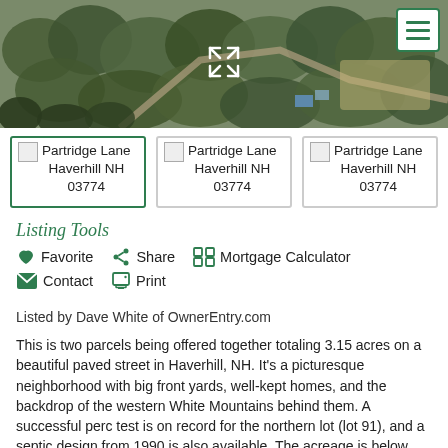[Figure (photo): Aerial photograph of wooded land with a road and buildings, showing a green forested area in Haverhill NH]
Partridge Lane Haverhill NH 03774
Partridge Lane Haverhill NH 03774
Partridge Lane Haverhill NH 03774
Listing Tools
Favorite
Share
Mortgage Calculator
Contact
Print
Listed by Dave White of OwnerEntry.com
This is two parcels being offered together totaling 3.15 acres on a beautiful paved street in Haverhill, NH. It's a picturesque neighborhood with big front yards, well-kept homes, and the backdrop of the western White Mountains behind them. A successful perc test is on record for the northern lot (lot 91), and a septic design from 1990 is also available. The acreage is below road grade for maximum